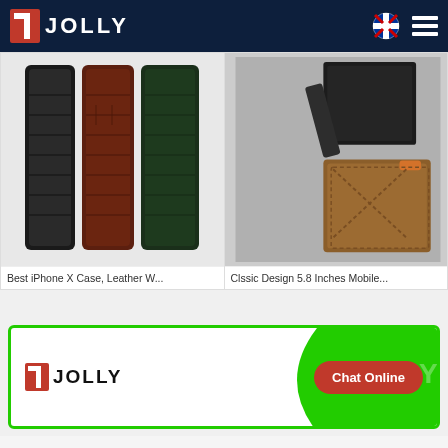JOLLY (logo header navigation)
[Figure (photo): Three leather phone cases in black, dark red/brown, and dark green crocodile texture pattern standing upright]
[Figure (photo): Two leather phone sleeves - one black slim sleeve and one tan/brown leather sleeve with cross-stitch X pattern and orange tab]
Best iPhone X Case, Leather W...
Clssic Design 5.8 Inches Mobile...
[Figure (logo): JOLLY brand banner with white background, green border, JOLLY logo on left, decorative green curve on right, Chat Online red button]
Chat Online